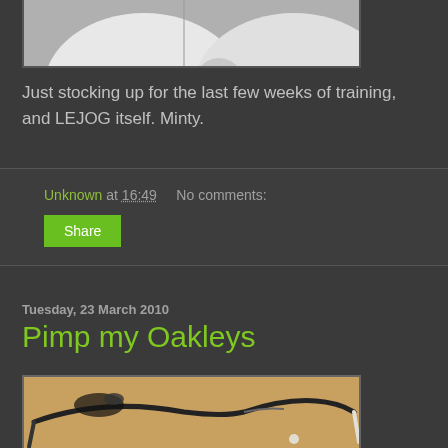[Figure (photo): Partial view of white rounded objects, likely sports/cycling items, against a dark background]
Just stocking up for the last few weeks of training, and LEJOG itself. Minty.
Unknown at 16:49    No comments:
Share
Tuesday, 23 March 2010
Pimp my Oakleys
[Figure (photo): Close-up photo of Oakley sunglasses frames on a warm orange/brown background, showing the arms and frame structure]